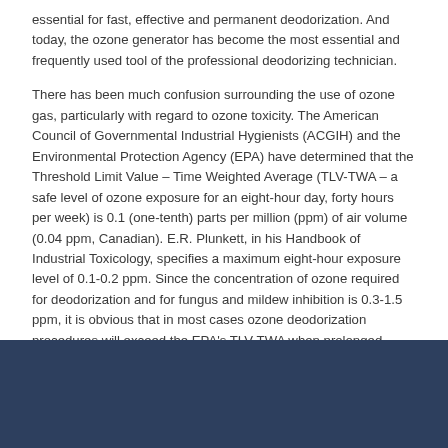essential for fast, effective and permanent deodorization. And today, the ozone generator has become the most essential and frequently used tool of the professional deodorizing technician.
There has been much confusion surrounding the use of ozone gas, particularly with regard to ozone toxicity. The American Council of Governmental Industrial Hygienists (ACGIH) and the Environmental Protection Agency (EPA) have determined that the Threshold Limit Value – Time Weighted Average (TLV-TWA – a safe level of ozone exposure for an eight-hour day, forty hours per week) is 0.1 (one-tenth) parts per million (ppm) of air volume (0.04 ppm, Canadian). E.R. Plunkett, in his Handbook of Industrial Toxicology, specifies a maximum eight-hour exposure level of 0.1-0.2 ppm. Since the concentration of ozone required for deodorization and for fungus and mildew inhibition is 0.3-1.5 ppm, it is obvious that in most cases ozone deodorization procedures will exceed the EPA's TLV-TWA when prolonged exposure is anticipated. For this reason it must be used in unoccupied, controlled access areas only.